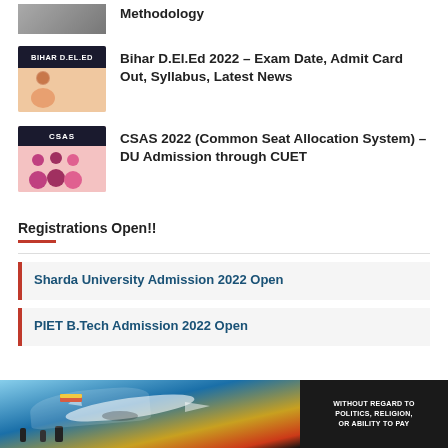[Figure (photo): Partial article thumbnail at top of page]
Methodology
[Figure (photo): Bihar D.El.Ed thumbnail image with dark header bar and text 'BIHAR D.EL.ED']
Bihar D.El.Ed 2022 – Exam Date, Admit Card Out, Syllabus, Latest News
[Figure (photo): CSAS thumbnail image with dark header bar and text 'CSAS']
CSAS 2022 (Common Seat Allocation System) – DU Admission through CUET
Registrations Open!!
Sharda University Admission 2022 Open
PIET B.Tech Admission 2022 Open
[Figure (photo): Advertisement banner showing airplane loading cargo with dark sidebar text 'WITHOUT REGARD TO POLITICS, RELIGION, OR ABILITY TO PAY']